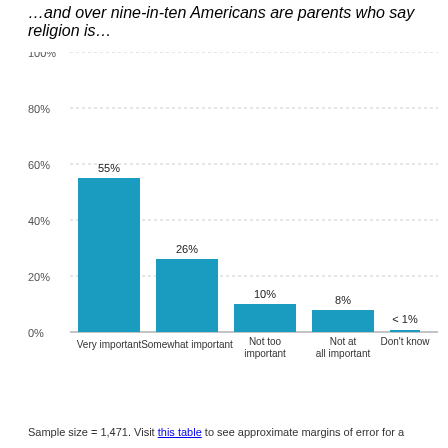…and over nine-in-ten Americans are parents who say religion is…
[Figure (bar-chart): ]
Sample size = 1,471. Visit this table to see approximate margins of error for a